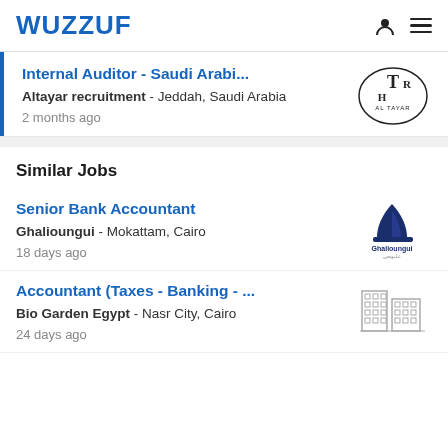WUZZUF
Internal Auditor - Saudi Arabi...
Altayar recruitment - Jeddah, Saudi Arabia
2 months ago
Similar Jobs
Senior Bank Accountant
Ghalioungui - Mokattam, Cairo
18 days ago
Accountant (Taxes - Banking - ...
Bio Garden Egypt - Nasr City, Cairo
24 days ago